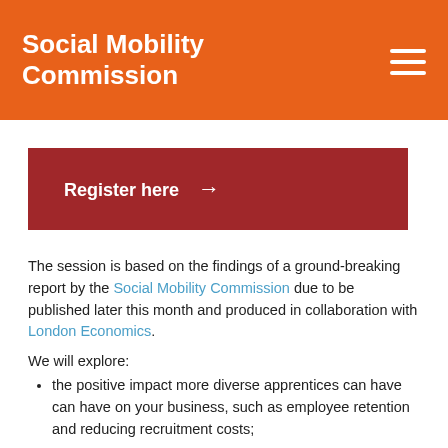Social Mobility Commission
[Figure (other): Register here button with right arrow, dark red background]
The session is based on the findings of a ground-breaking report by the Social Mobility Commission due to be published later this month and produced in collaboration with London Economics.
We will explore:
the positive impact more diverse apprentices can have can have on your business, such as employee retention and reducing recruitment costs;
case studies from leading organisations, looking at what they are doing to leverage apprenticeships to support